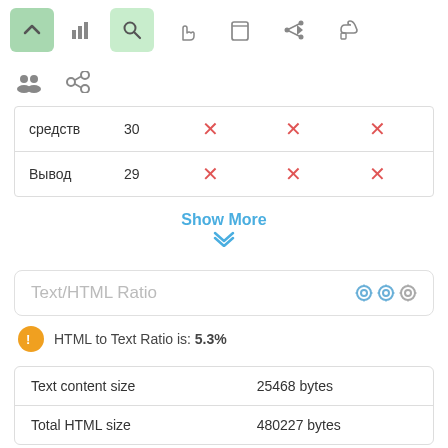[Figure (screenshot): Top toolbar with navigation buttons including up arrow (active green), bar chart, search (active light green), hand pointer, mobile, send, and thumbs up icons]
[Figure (screenshot): Secondary toolbar row with people/group icon and chain link icon]
| средств | 30 | ✕ | ✕ | ✕ |
| Вывод | 29 | ✕ | ✕ | ✕ |
Show More
Text/HTML Ratio
HTML to Text Ratio is: 5.3%
| Text content size | 25468 bytes |
| Total HTML size | 480227 bytes |